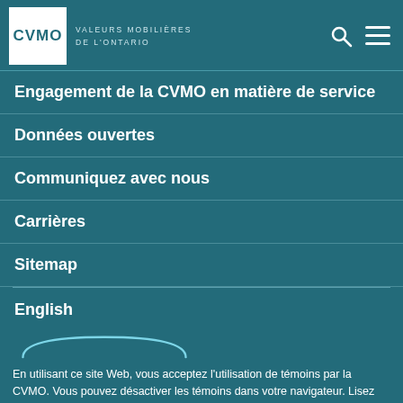CVMO VALEURS MOBILIÈRES DE L'ONTARIO
Engagement de la CVMO en matière de service
Données ouvertes
Communiquez avec nous
Carrières
Sitemap
English
En utilisant ce site Web, vous acceptez l'utilisation de témoins par la CVMO. Vous pouvez désactiver les témoins dans votre navigateur. Lisez notre politique de confidentialité pour en savoir plus.